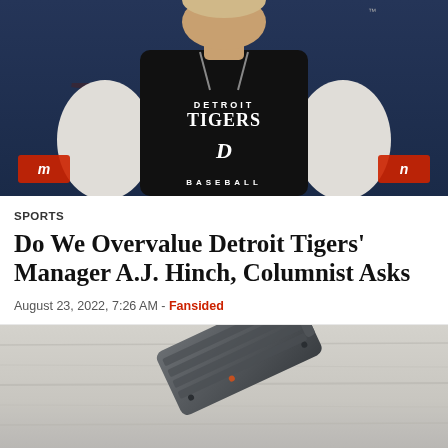[Figure (photo): Man wearing a Detroit Tigers baseball sleeveless hoodie jersey, standing in front of a dark navy background with a Detroit Tigers logo visible.]
SPORTS
Do We Overvalue Detroit Tigers' Manager A.J. Hinch, Columnist Asks
August 23, 2022, 7:26 AM -  Fansided
[Figure (photo): A dark gray mechanical device (appears to be a tool or gadget) resting on a light gray wooden plank surface.]